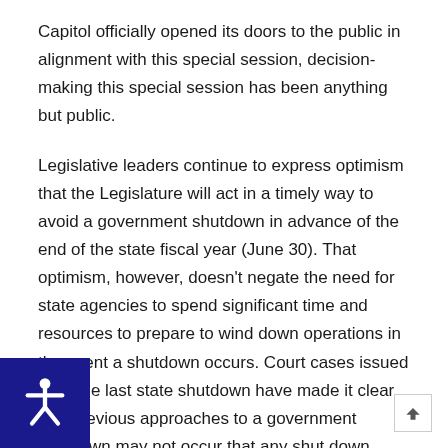Capitol officially opened its doors to the public in alignment with this special session, decision-making this special session has been anything but public.
Legislative leaders continue to express optimism that the Legislature will act in a timely way to avoid a government shutdown in advance of the end of the state fiscal year (June 30). That optimism, however, doesn't negate the need for state agencies to spend significant time and resources to prepare to wind down operations in the event a shutdown occurs. Court cases issued after the last state shutdown have made it clear that previous approaches to a government shutdown may not occur that any shut down would mean a nearly complete stoppage of all state functions.